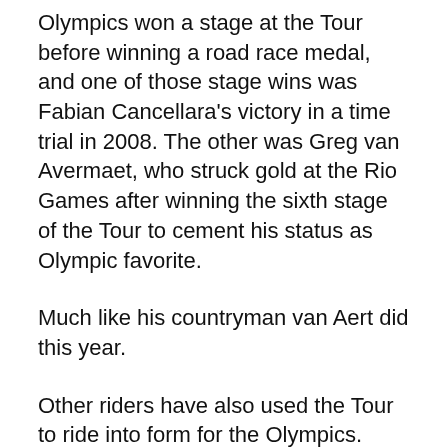Olympics won a stage at the Tour before winning a road race medal, and one of those stage wins was Fabian Cancellara's victory in a time trial in 2008. The other was Greg van Avermaet, who struck gold at the Rio Games after winning the sixth stage of the Tour to cement his status as Olympic favorite.
Much like his countryman van Aert did this year.
Other riders have also used the Tour to ride into form for the Olympics.
Paolo Bettini spent eight days wearing the king of the mountains jersey before winning gold at the 2004 Athens games, where Axel M...